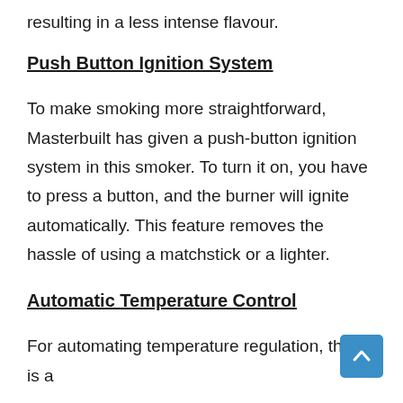resulting in a less intense flavour.
Push Button Ignition System
To make smoking more straightforward, Masterbuilt has given a push-button ignition system in this smoker. To turn it on, you have to press a button, and the burner will ignite automatically. This feature removes the hassle of using a matchstick or a lighter.
Automatic Temperature Control
For automating temperature regulation, there is a